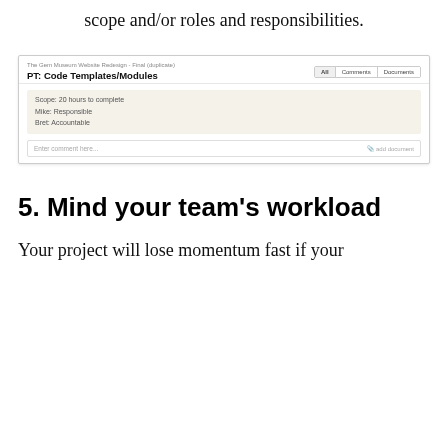scope and/or roles and responsibilities.
[Figure (screenshot): Screenshot of a project management tool showing a task titled 'PT: Code Templates/Modules' under 'The Gem Museum Website Redesign - Final (duplicate)'. The task has a beige info box showing 'Scope: 20 hours to complete', 'Mike: Responsible', 'Bret: Accountable'. Tabs show All, Comments, Documents. A comment input bar at the bottom reads 'Enter comment here...' with 'add document' on the right.]
5. Mind your team's workload
Your project will lose momentum fast if your